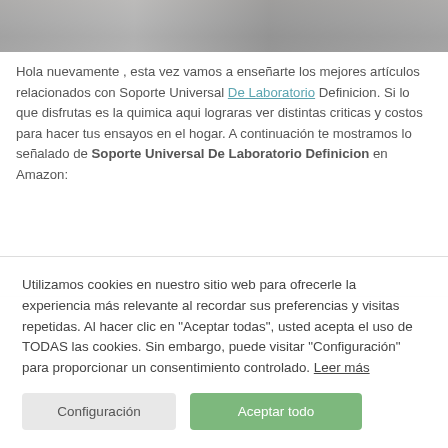[Figure (photo): Cropped photo strip showing people at the top of the page, partially cut off, with gray/dark background]
Hola nuevamente , esta vez vamos a enseñarte los mejores artículos relacionados con Soporte Universal De Laboratorio Definicion. Si lo que disfrutas es la quimica aqui lograras ver distintas criticas y costos para hacer tus ensayos en el hogar. A continuación te mostramos lo señalado de Soporte Universal De Laboratorio Definicion en Amazon:
Utilizamos cookies en nuestro sitio web para ofrecerle la experiencia más relevante al recordar sus preferencias y visitas repetidas. Al hacer clic en "Aceptar todas", usted acepta el uso de TODAS las cookies. Sin embargo, puede visitar "Configuración" para proporcionar un consentimiento controlado. Leer más